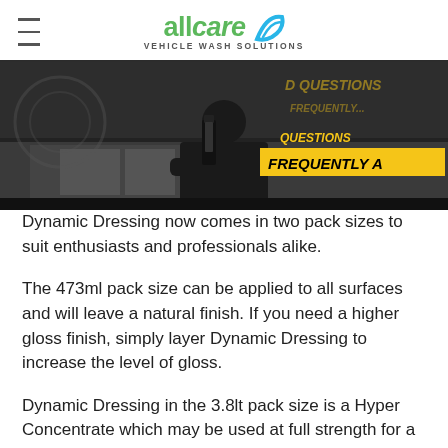allcare VEHICLE WASH SOLUTIONS
[Figure (screenshot): Video frame showing a person at a counter with a product bottle, with 'FREQUENTLY ASKED QUESTIONS' text overlay in yellow banner style]
Dynamic Dressing now comes in two pack sizes to suit enthusiasts and professionals alike.
The 473ml pack size can be applied to all surfaces and will leave a natural finish. If you need a higher gloss finish, simply layer Dynamic Dressing to increase the level of gloss.
Dynamic Dressing in the 3.8lt pack size is a Hyper Concentrate which may be used at full strength for a high gloss finish or diluted up to 4 to 1 with water. All